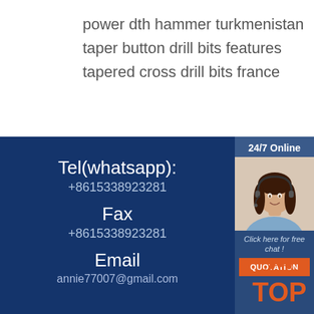power dth hammer turkmenistan
taper button drill bits features
tapered cross drill bits france
Tel(whatsapp):
+8615338923281
Fax
+8615338923281
Email
annie77007@gmail.com
24/7 Online
[Figure (photo): Customer service agent woman with headset smiling]
Click here for free chat !
QUOTATION
[Figure (logo): TOP logo with orange dot arc above the word TOP]